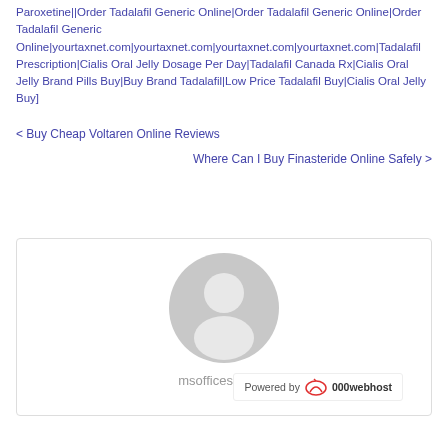Paroxetine||Order Tadalafil Generic Online|Order Tadalafil Generic Online|Order Tadalafil Generic Online|yourtaxnet.com|yourtaxnet.com|yourtaxnet.com|yourtaxnet.com|Tadalafil Prescription|Cialis Oral Jelly Dosage Per Day|Tadalafil Canada Rx|Cialis Oral Jelly Brand Pills Buy|Buy Brand Tadalafil|Low Price Tadalafil Buy|Cialis Oral Jelly Buy]
< Buy Cheap Voltaren Online Reviews
Where Can I Buy Finasteride Online Safely >
[Figure (illustration): Default user avatar icon — a grey circle silhouette of a person (head and shoulders) on white background, inside a bordered author box.]
msofficesupport
Powered by 000webhost